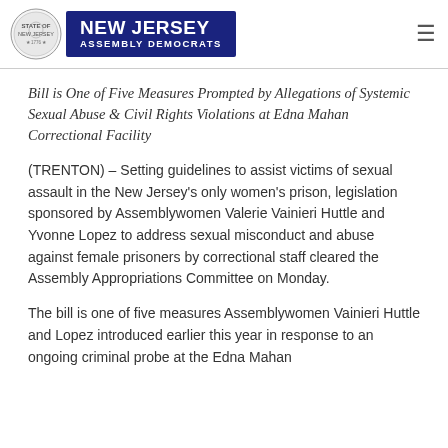NEW JERSEY ASSEMBLY DEMOCRATS
Bill is One of Five Measures Prompted by Allegations of Systemic Sexual Abuse & Civil Rights Violations at Edna Mahan Correctional Facility
(TRENTON) – Setting guidelines to assist victims of sexual assault in the New Jersey's only women's prison, legislation sponsored by Assemblywomen Valerie Vainieri Huttle and Yvonne Lopez to address sexual misconduct and abuse against female prisoners by correctional staff cleared the Assembly Appropriations Committee on Monday.
The bill is one of five measures Assemblywomen Vainieri Huttle and Lopez introduced earlier this year in response to an ongoing criminal probe at the Edna Mahan…